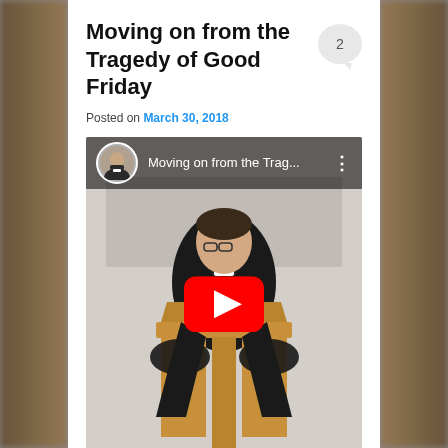Moving on from the Tragedy of Good Friday
Posted on March 30, 2018
[Figure (screenshot): YouTube video thumbnail showing a person in clerical black robe standing at a wooden pulpit/lectern. Video title overlay reads 'Moving on from the Trag...' with a YouTube play button in the center. A small circular avatar of the presenter appears in the top-left of the video. A comment bubble showing '2' appears in the top-right of the card.]